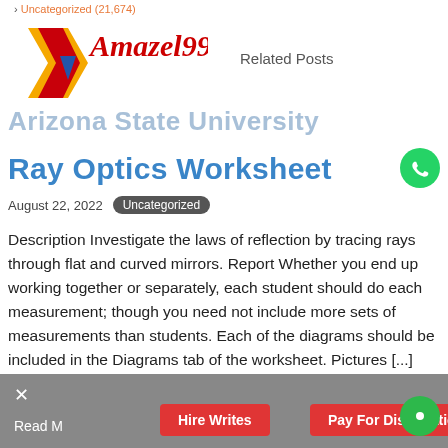> Uncategorized (21,674)
[Figure (logo): Amaize1990 logo with yellow/red arrow shape and red italic text 'Amazel990']
Related Posts
Arizona State University
Ray Optics Worksheet
August 22, 2022  Uncategorized
Description Investigate the laws of reflection by tracing rays through flat and curved mirrors. Report Whether you end up working together or separately, each student should do each measurement; though you need not include more sets of measurements than students. Each of the diagrams should be included in the Diagrams tab of the worksheet. Pictures [...]
Read More  Hire Writes  Pay For Dissertation